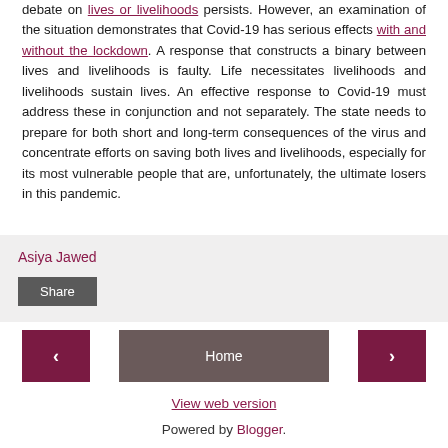debate on lives or livelihoods persists. However, an examination of the situation demonstrates that Covid-19 has serious effects with and without the lockdown. A response that constructs a binary between lives and livelihoods is faulty. Life necessitates livelihoods and livelihoods sustain lives. An effective response to Covid-19 must address these in conjunction and not separately. The state needs to prepare for both short and long-term consequences of the virus and concentrate efforts on saving both lives and livelihoods, especially for its most vulnerable people that are, unfortunately, the ultimate losers in this pandemic.
Asiya Jawed
Share
Home
View web version
Powered by Blogger.